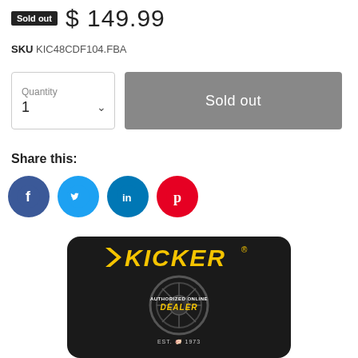Sold out  $ 149.99
SKU KIC48CDF104.FBA
Quantity 1  Sold out
Share this:
[Figure (illustration): Social media share icons: Facebook (blue circle with f), Twitter (light blue circle with bird), LinkedIn (teal circle with in), Pinterest (red circle with P)]
[Figure (logo): Kicker Authorized Online Dealer badge on dark textured background with speaker graphic. Yellow Kicker logo at top, speaker cone image in center with 'AUTHORIZED ONLINE DEALER' text overlay, EST. 1973 at bottom.]